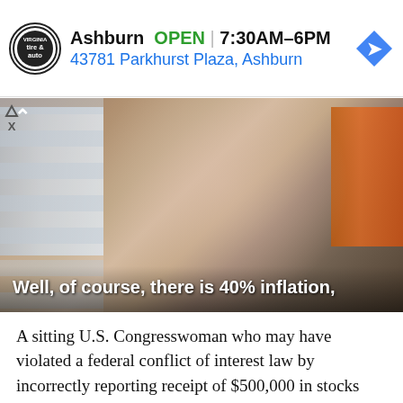[Figure (other): Advertisement banner for Virginia Tire & Auto showing Ashburn location: OPEN 7:30AM–6PM, 43781 Parkhurst Plaza, Ashburn, with logo and navigation arrow icon]
[Figure (screenshot): Video screenshot of a woman shopping in a store with shelves of items. White caption text reads: 'Well, of course, there is 40% inflation,']
A sitting U.S. Congresswoman who may have violated a federal conflict of interest law by incorrectly reporting receipt of $500,000 in stocks took a page out of Dr. Oz's playbook Wednesday, cutting an ad showing her shopping – not for crudité,